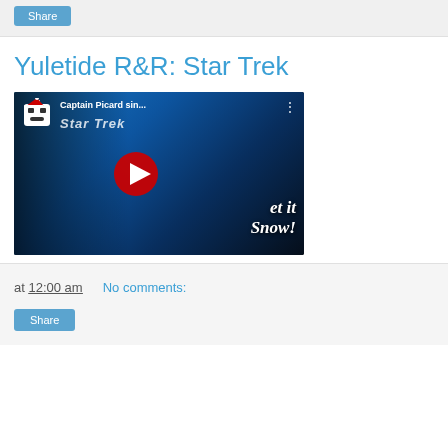Share
Yuletide R&R: Star Trek
[Figure (screenshot): YouTube video thumbnail showing Captain Picard in a Star Trek uniform pointing forward, wearing a Santa hat, with 'Captain Picard sin...' title text, Star Trek logo, YouTube play button, and 'et it Snow!' text overlay on a blue background.]
at 12:00 am   No comments:
Share